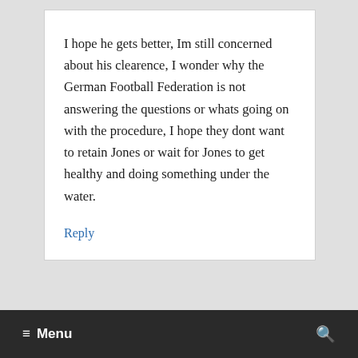I hope he gets better, Im still concerned about his clearence, I wonder why the German Football Federation is not answering the questions or whats going on with the procedure, I hope they dont want to retain Jones or wait for Jones to get healthy and doing something under the water.
Reply
≡ Menu  🔍